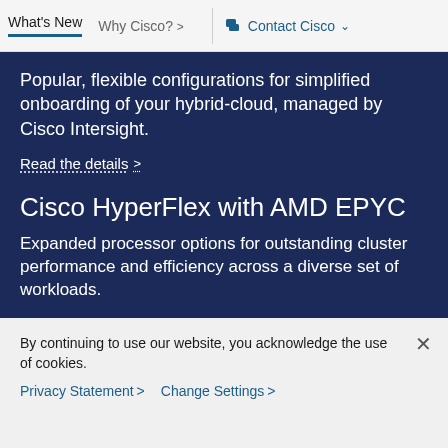What's New   Why Cisco? >   Contact Cisco
Popular, flexible configurations for simplified onboarding of your hybrid-cloud, managed by Cisco Intersight.
Read the details >
Cisco HyperFlex with AMD EPYC
Expanded processor options for outstanding cluster performance and efficiency across a diverse set of workloads.
Find the details >
Cisco simplifies enterprises' path to hybrid
By continuing to use our website, you acknowledge the use of cookies.
Privacy Statement >   Change Settings >